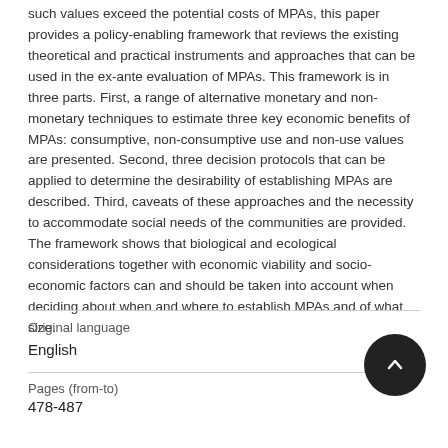such values exceed the potential costs of MPAs, this paper provides a policy-enabling framework that reviews the existing theoretical and practical instruments and approaches that can be used in the ex-ante evaluation of MPAs. This framework is in three parts. First, a range of alternative monetary and non-monetary techniques to estimate three key economic benefits of MPAs: consumptive, non-consumptive use and non-use values are presented. Second, three decision protocols that can be applied to determine the desirability of establishing MPAs are described. Third, caveats of these approaches and the necessity to accommodate social needs of the communities are provided. The framework shows that biological and ecological considerations together with economic viability and socio-economic factors can and should be taken into account when deciding about when and where to establish MPAs and of what size.
Original language
English
Pages (from-to)
478-487